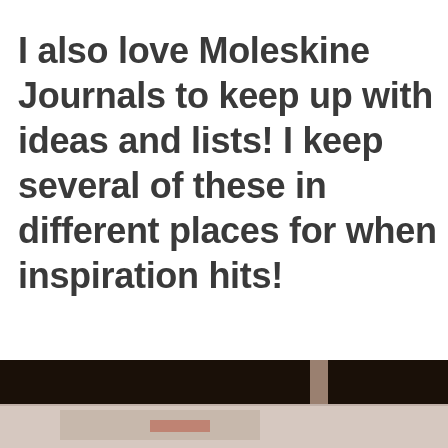I also love Moleskine Journals to keep up with ideas and lists! I keep several of these in different places for when inspiration hits!
[Figure (photo): Partially visible photograph with dark upper portion (black background) and lighter lower portion showing what appears to be an object with red and other colors, consistent with a product or journal photo.]